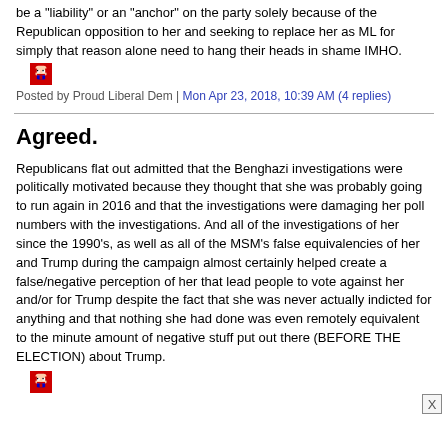be a "liability" or an "anchor" on the party solely because of the Republican opposition to her and seeking to replace her as ML for simply that reason alone need to hang their heads in shame IMHO.
Posted by Proud Liberal Dem | Mon Apr 23, 2018, 10:39 AM (4 replies)
Agreed.
Republicans flat out admitted that the Benghazi investigations were politically motivated because they thought that she was probably going to run again in 2016 and that the investigations were damaging her poll numbers with the investigations. And all of the investigations of her since the 1990's, as well as all of the MSM's false equivalencies of her and Trump during the campaign almost certainly helped create a false/negative perception of her that lead people to vote against her and/or for Trump despite the fact that she was never actually indicted for anything and that nothing she had done was even remotely equivalent to the minute amount of negative stuff put out there (BEFORE THE ELECTION) about Trump.